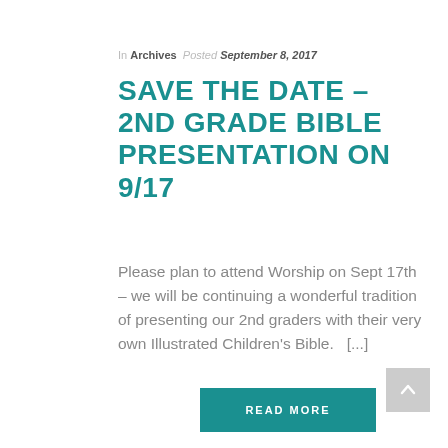In Archives  Posted September 8, 2017
SAVE THE DATE – 2ND GRADE BIBLE PRESENTATION ON 9/17
Please plan to attend Worship on Sept 17th – we will be continuing a wonderful tradition of presenting our 2nd graders with their very own Illustrated Children's Bible.   [...]
READ MORE